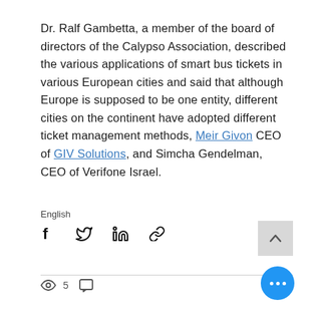Dr. Ralf Gambetta, a member of the board of directors of the Calypso Association, described the various applications of smart bus tickets in various European cities and said that although Europe is supposed to be one entity, different cities on the continent have adopted different ticket management methods, Meir Givon CEO of GIV Solutions, and Simcha Gendelman, CEO of Verifone Israel.
English
[Figure (infographic): Social share icons: Facebook, Twitter, LinkedIn, link/copy. Back-to-top button (grey square with up chevron). View count icon with eye and '5', comment bubble icon. Blue circular FAB button with three dots.]